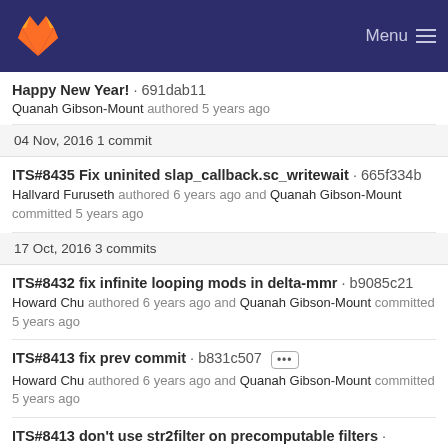GitLab — Menu
Happy New Year! · 691dab11
Quanah Gibson-Mount authored 5 years ago
04 Nov, 2016 1 commit
ITS#8435 Fix uninited slap_callback.sc_writewait · 665f334b
Hallvard Furuseth authored 6 years ago and Quanah Gibson-Mount committed 5 years ago
17 Oct, 2016 3 commits
ITS#8432 fix infinite looping mods in delta-mmr · b9085c21
Howard Chu authored 6 years ago and Quanah Gibson-Mount committed 5 years ago
ITS#8413 fix prev commit · b831c507 ...
Howard Chu authored 6 years ago and Quanah Gibson-Mount committed 5 years ago
ITS#8413 don't use str2filter on precomputable filters ·